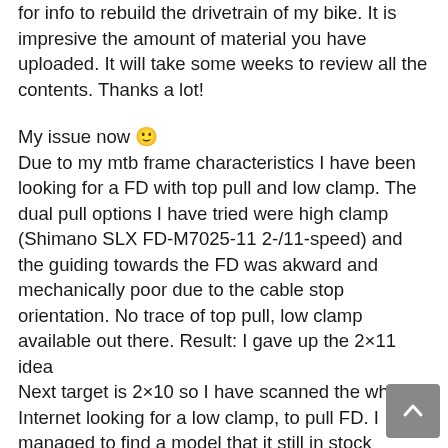for info to rebuild the drivetrain of my bike. It is impresive the amount of material you have uploaded. It will take some weeks to review all the contents. Thanks a lot!
My issue now 🙂
Due to my mtb frame characteristics I have been looking for a FD with top pull and low clamp. The dual pull options I have tried were high clamp (Shimano SLX FD-M7025-11 2-/11-speed) and the guiding towards the FD was akward and mechanically poor due to the cable stop orientation. No trace of top pull, low clamp available out there. Result: I gave up the 2×11 idea
Next target is 2×10 so I have scanned the whole Internet looking for a low clamp, top pull FD. I managed to find a model that it is still in stock (Shimano SLX FD-M675).